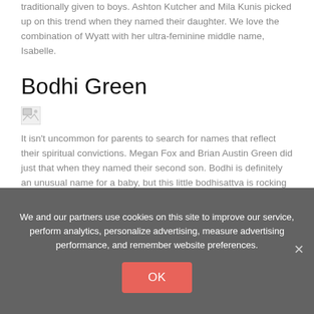traditionally given to boys. Ashton Kutcher and Mila Kunis picked up on this trend when they named their daughter. We love the combination of Wyatt with her ultra-feminine middle name, Isabelle.
Bodhi Green
[Figure (photo): Broken image placeholder icon]
It isn't uncommon for parents to search for names that reflect their spiritual convictions. Megan Fox and Brian Austin Green did just that when they named their second son. Bodhi is definitely an unusual name for a baby, but this little bodhisattva is rocking it.
We and our partners use cookies on this site to improve our service, perform analytics, personalize advertising, measure advertising performance, and remember website preferences.